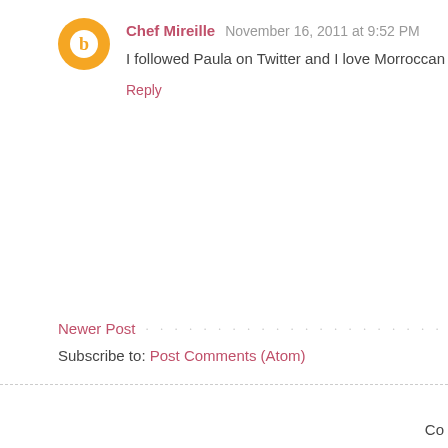Chef Mireille  November 16, 2011 at 9:52 PM
I followed Paula on Twitter and I love Morroccan cuisine and
Reply
Newer Post
Subscribe to: Post Comments (Atom)
Co